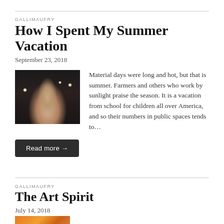GALLIMAUFRY
How I Spent My Summer Vacation
September 23, 2018
[Figure (photo): Dark cinematic photo of a woman in a dim setting with bokeh lights in background]
Material days were long and hot, but that is summer. Farmers and others who work by sunlight praise the season. It is a vacation from school for children all over America, and so their numbers in public spaces tends to…
Read more →
GALLIMAUFRY
The Art Spirit
July 14, 2018
[Figure (photo): Colorful orange and pink abstract or artistic image, partially visible at bottom of page]